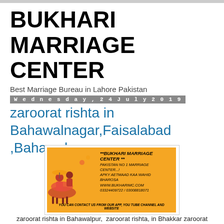BUKHARI MARRIAGE CENTER
Best Marriage Bureau in Lahore Pakistan
Wednesday, 24 July 2019
zaroorat rishta in Bahawalnagar,Faisalabad ,Bahawalpur
[Figure (photo): Bukhari Marriage Center advertisement banner with orange background, decorative illustration of baraat procession on left side, and text: **BUKHARI MARRIAGE CENTER ** PAKISTAN NO 1 MARRIAGE CENTER...! APKY AETMAAD KAA WAHID BHAROSA WWW.BUKHARIMC.COM 03324409722 / 03008818071 YOU CAN CONTACT US FROM OUR APP, YOU TUBE CHANNEL AND WEBSITE]
zaroorat rishta in Bahawalpur,  zaroorat rishta, in Bhakkar zaroorat rishta in Chakwal, zaroorat rishta,in Chiniot zaroorat rishta in Dera Ghazi Khan, zaroorat